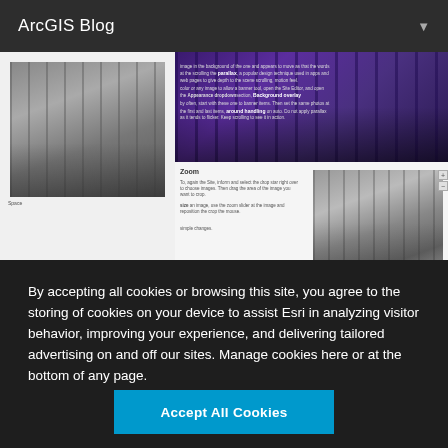ArcGIS Blog
[Figure (screenshot): ArcGIS Blog webpage screenshot showing a blog post about image styling. Left panel shows a city street photo in grayscale. Right panel shows a purple-tinted city skyline banner at top, a Zoom section with text and a city street photo, and a dark red strip at the bottom.]
By accepting all cookies or browsing this site, you agree to the storing of cookies on your device to assist Esri in analyzing visitor behavior, improving your experience, and delivering tailored advertising on and off our sites. Manage cookies here or at the bottom of any page.
Accept All Cookies